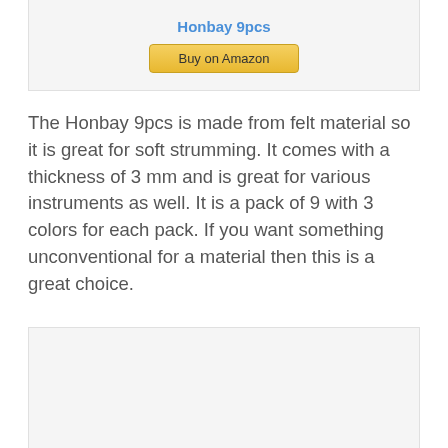Honbay 9pcs
[Figure (other): Buy on Amazon button]
The Honbay 9pcs is made from felt material so it is great for soft strumming. It comes with a thickness of 3 mm and is great for various instruments as well. It is a pack of 9 with 3 colors for each pack. If you want something unconventional for a material then this is a great choice.